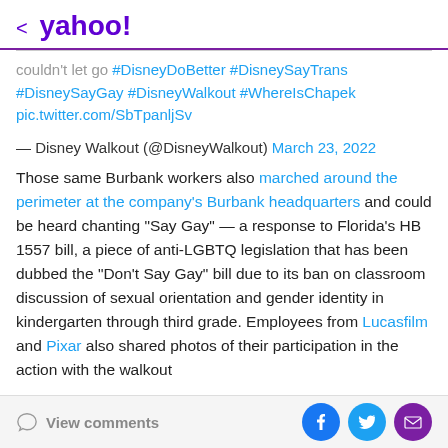< yahoo!
couldn't let go #DisneyDoBetter #DisneySayTrans #DisneySayGay #DisneyWalkout #WhereIsChapek pic.twitter.com/SbTpanljSv
— Disney Walkout (@DisneyWalkout) March 23, 2022
Those same Burbank workers also marched around the perimeter at the company's Burbank headquarters and could be heard chanting "Say Gay" — a response to Florida's HB 1557 bill, a piece of anti-LGBTQ legislation that has been dubbed the "Don't Say Gay" bill due to its ban on classroom discussion of sexual orientation and gender identity in kindergarten through third grade. Employees from Lucasfilm and Pixar also shared photos of their participation in the action with the walkout
View comments